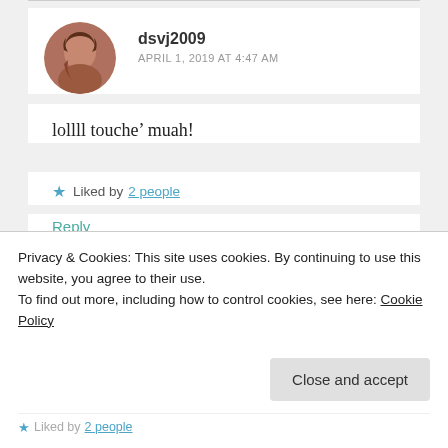dsvj2009
APRIL 1, 2019 AT 4:47 AM
lollll touche’ muah!
★ Liked by 2 people
Reply
Privacy & Cookies: This site uses cookies. By continuing to use this website, you agree to their use.
To find out more, including how to control cookies, see here: Cookie Policy
Close and accept
Liked by 2 people